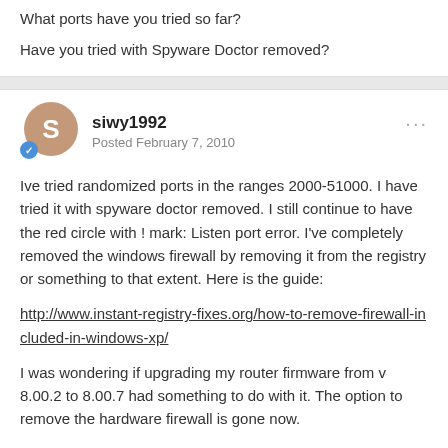What ports have you tried so far?
Have you tried with Spyware Doctor removed?
siwy1992
Posted February 7, 2010
Ive tried randomized ports in the ranges 2000-51000. I have tried it with spyware doctor removed. I still continue to have the red circle with ! mark: Listen port error. I've completely removed the windows firewall by removing it from the registry or something to that extent. Here is the guide:
http://www.instant-registry-fixes.org/how-to-remove-firewall-included-in-windows-xp/
I was wondering if upgrading my router firmware from v 8.00.2 to 8.00.7 had something to do with it. The option to remove the hardware firewall is gone now.